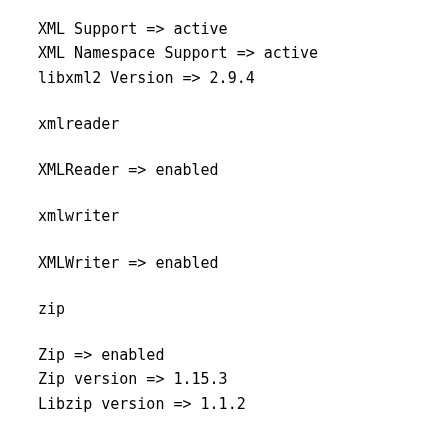XML Support => active
XML Namespace Support => active
libxml2 Version => 2.9.4
xmlreader
XMLReader => enabled
xmlwriter
XMLWriter => enabled
zip
Zip => enabled
Zip version => 1.15.3
Libzip version => 1.1.2